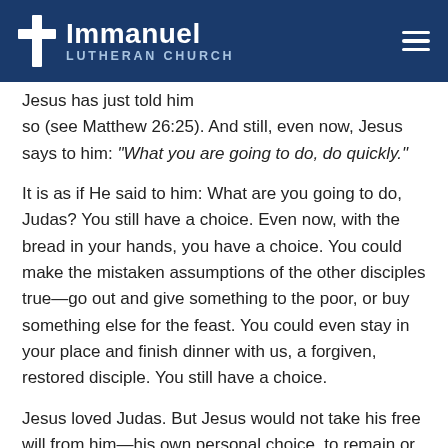Immanuel Lutheran Church
Jesus has just told him so (see Matthew 26:25). And still, even now, Jesus says to him: "What you are going to do, do quickly."
It is as if He said to him: What are you going to do, Judas? You still have a choice. Even now, with the bread in your hands, you have a choice. You could make the mistaken assumptions of the other disciples true—go out and give something to the poor, or buy something else for the feast. You could even stay in your place and finish dinner with us, a forgiven, restored disciple. You still have a choice.
Jesus loved Judas. But Jesus would not take his free will from him—his own personal choice, to remain or betray. Neither will Jesus take our freedom from us. He calls us to Him in love, offering us the gifts of love, bread and wine,